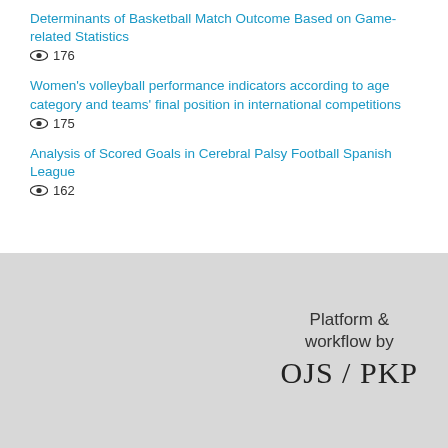Determinants of Basketball Match Outcome Based on Game-related Statistics
👁 176
Women's volleyball performance indicators according to age category and teams' final position in international competitions
👁 175
Analysis of Scored Goals in Cerebral Palsy Football Spanish League
👁 162
[Figure (logo): Platform & workflow by OJS / PKP logo in grey footer area]